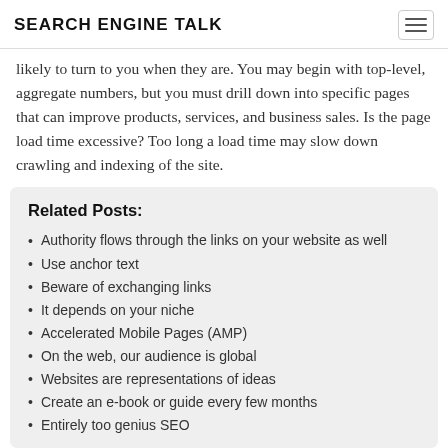SEARCH ENGINE TALK
likely to turn to you when they are. You may begin with top-level, aggregate numbers, but you must drill down into specific pages that can improve products, services, and business sales. Is the page load time excessive? Too long a load time may slow down crawling and indexing of the site.
Related Posts:
Authority flows through the links on your website as well
Use anchor text
Beware of exchanging links
It depends on your niche
Accelerated Mobile Pages (AMP)
On the web, our audience is global
Websites are representations of ideas
Create an e-book or guide every few months
Entirely too genius SEO